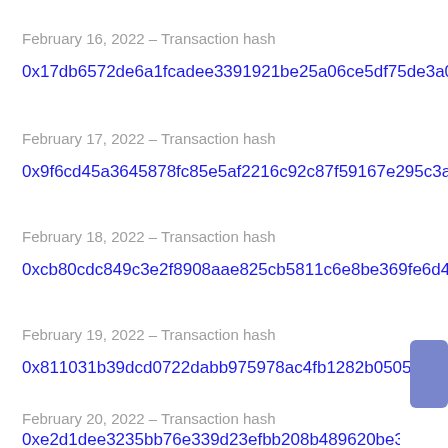February 16, 2022 – Transaction hash
0x17db6572de6a1fcadee3391921be25a06ce5df75de3a00f6
February 17, 2022 – Transaction hash
0x9f6cd45a3645878fc85e5af2216c92c87f59167e295c3a17
February 18, 2022 – Transaction hash
0xcb80cdc849c3e2f8908aae825cb5811c6e8be369fe6d40a8
February 19, 2022 – Transaction hash
0x811031b39dcd0722dabb975978ac4fb1282b0505123f36b
February 20, 2022 – Transaction hash
0xe2d1dee3235bb76e339d23efbb208b489620be3d51092cb